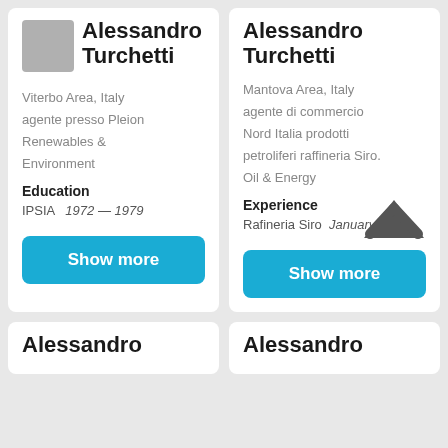Alessandro Turchetti
Viterbo Area, Italy
agente presso Pleion Renewables & Environment
Education
IPSIA   1972 — 1979
Show more
Alessandro Turchetti
Mantova Area, Italy
agente di commercio Nord Italia prodotti petroliferi raffineria Siro.
Oil & Energy
Experience
Rafineria Siro   January
Show more
Alessandro
Alessandro